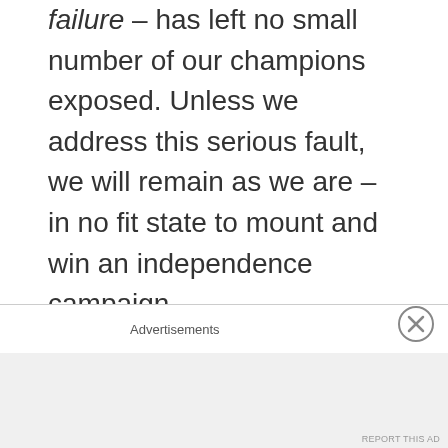failure – has left no small number of our champions exposed. Unless we address this serious fault, we will remain as we are – in no fit state to mount and win an independence campaign.
We are weakened by this prevailing middle-class opinion that we can succeed using England's Queensberry rules. The Scottish independence movement is a threat to the British state and London will fight us with every disgusting
Advertisements